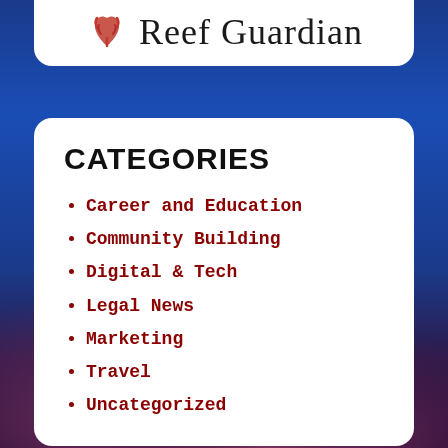[Figure (logo): Reef Guardian logo with red coral/plant icon and script text 'Reef Guardian']
CATEGORIES
Career and Education
Community Building
Digital & Tech
Legal News
Marketing
Travel
Uncategorized